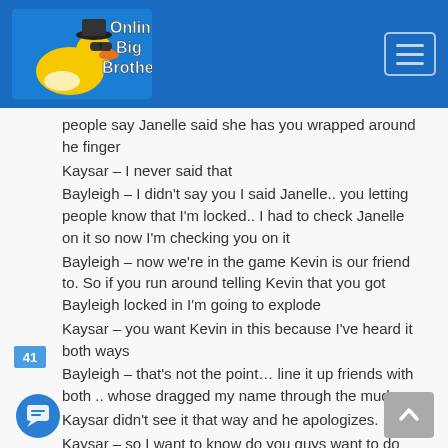Online Big Brother
people say Janelle said she has you wrapped around he finger
Kaysar – I never said that
Bayleigh – I didn't say you I said Janelle.. you letting people know that I'm locked.. I had to check Janelle on it so now I'm checking you on it
Bayleigh – now we're in the game Kevin is our friend to. So if you run around telling Kevin that you got Bayleigh locked in I'm going to explode
Kaysar – you want Kevin in this because I've heard it both ways
Bayleigh – that's not the point… line it up friends with both .. whose dragged my name through the mud
Kaysar didn't see it that way and he apologizes.
Kaysar – so I want to know do you guys want to do
41